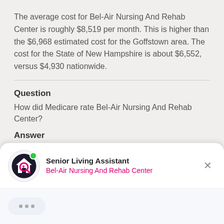The average cost for Bel-Air Nursing And Rehab Center is roughly $8,519 per month. This is higher than the $6,968 estimated cost for the Goffstown area. The cost for the State of New Hampshire is about $6,552, versus $4,930 nationwide.
Question
How did Medicare rate Bel-Air Nursing And Rehab Center?
Answer
[Figure (screenshot): Senior Living Assistant chat widget showing logo with green online dot, title 'Senior Living Assistant', subtitle 'Bel-Air Nursing And Rehab Center' in pink, close button X, and typing indicator with three dots]
...